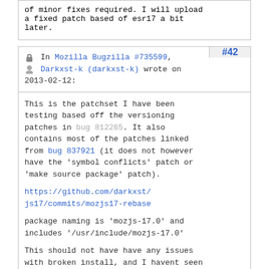of minor fixes required. I will upload a fixed patch based of esr17 a bit later.
In Mozilla Bugzilla #735599, Darkxst-k (darkxst-k) wrote on 2013-02-12: #42
This is the patchset I have been testing based off the versioning patches in bug 812265. It also contains most of the patches linked from bug 837921 (it does not however have the 'symbol conflicts' patch or 'make source package' patch).

https://github.com/darkxst/js17/commits/mozjs17-rebase

package naming is 'mozjs-17.0' and includes '/usr/include/mozjs-17.0'

This should not have have any issues with broken install, and I havent seen any nspr issues, but havent